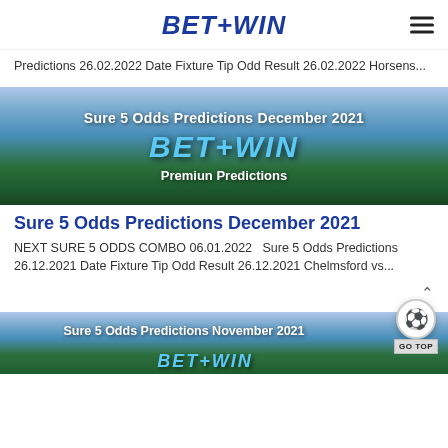BET+WIN
Predictions 26.02.2022 Date Fixture Tip Odd Result 26.02.2022 Horsens...
[Figure (illustration): Banner image with football stadium background, text: Sure 5 Odds Predictions December 2021, BET+WIN logo, Premiun Predictions]
Sure 5 Odds Predictions December 2021
NEXT SURE 5 ODDS COMBO 06.01.2022  Sure 5 Odds Predictions 26.12.2021 Date Fixture Tip Odd Result 26.12.2021 Chelmsford vs...
[Figure (illustration): Banner image with football stadium background, text: Sure 5 Odds Predictions November 2021, BET+WIN logo partially visible]